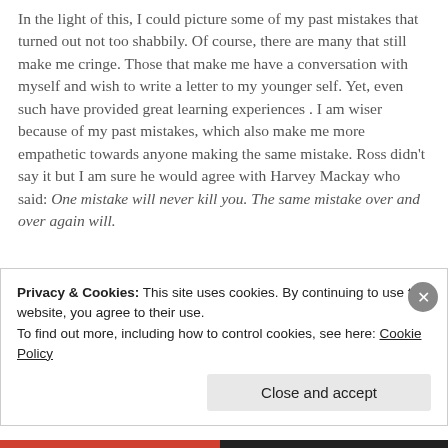In the light of this, I could picture some of my past mistakes that turned out not too shabbily. Of course, there are many that still make me cringe. Those that make me have a conversation with myself and wish to write a letter to my younger self. Yet, even such have provided great learning experiences . I am wiser because of my past mistakes, which also make me more empathetic towards anyone making the same mistake. Ross didn't say it but I am sure he would agree with Harvey Mackay who said: One mistake will never kill you. The same mistake over and over again will.
Privacy & Cookies: This site uses cookies. By continuing to use this website, you agree to their use.
To find out more, including how to control cookies, see here: Cookie Policy
Close and accept